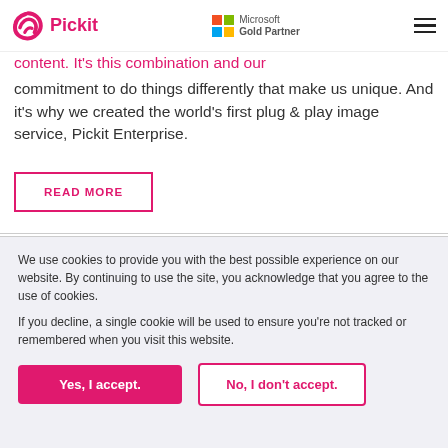Pickit — Microsoft Gold Partner
content. It's this combination and our commitment to do things differently that make us unique. And it's why we created the world's first plug & play image service, Pickit Enterprise.
READ MORE
We use cookies to provide you with the best possible experience on our website. By continuing to use the site, you acknowledge that you agree to the use of cookies.

If you decline, a single cookie will be used to ensure you're not tracked or remembered when you visit this website.
Yes, I accept.
No, I don't accept.